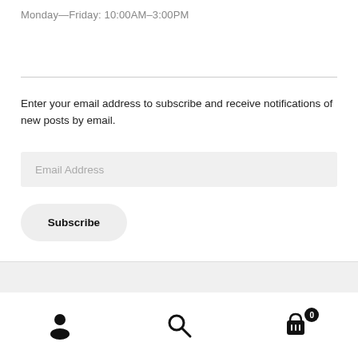Monday—Friday: 10:00AM–3:00PM
Enter your email address to subscribe and receive notifications of new posts by email.
Email Address
Subscribe